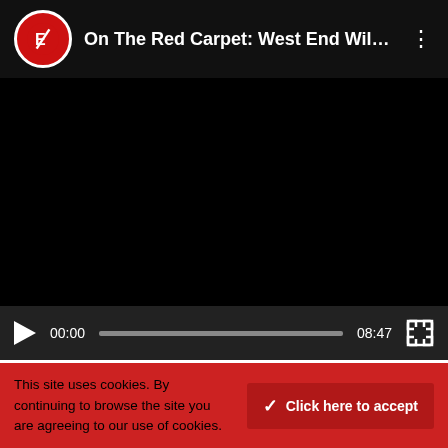[Figure (screenshot): Video player header with red/white circular logo containing letter E and diagonal slash, title 'On The Red Carpet: West End Wil...' in white, three-dot menu icon]
[Figure (screenshot): Dark video player area with black background and playback controls bar showing play button, time 00:00, progress bar, duration 08:47, and fullscreen button]
RECENT POSTS
REVIEW: HORSE-PLAY (Riverside Studios)
This site uses cookies. By continuing to browse the site you are agreeing to our use of cookies.